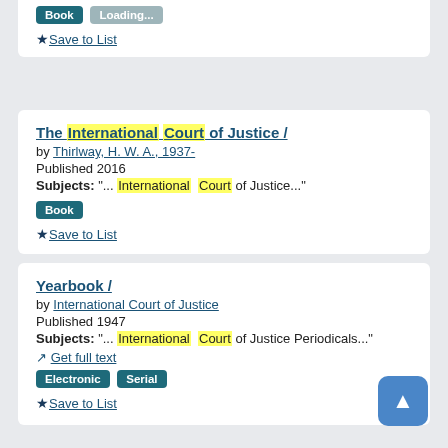Book   Loading...   ★ Save to List
The International Court of Justice / by Thirlway, H. W. A., 1937- Published 2016 Subjects: "... International Court of Justice..." Book ★ Save to List
Yearbook / by International Court of Justice Published 1947 Subjects: "... International Court of Justice Periodicals..." Get full text Electronic Serial ★ Save to List